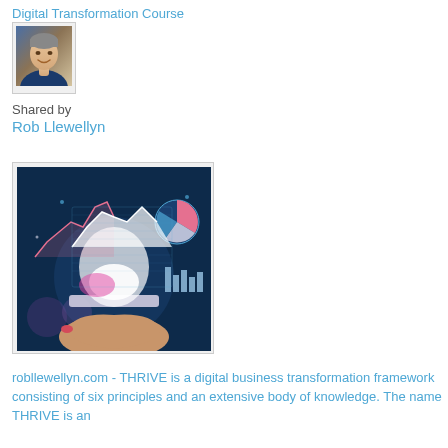Digital Transformation Course
[Figure (photo): Profile photo of Rob Llewellyn, a smiling middle-aged man in a blue jacket]
Shared by
Rob Llewellyn
[Figure (photo): A hand holding a glowing tablet displaying colorful holographic data charts including bar charts, line charts, and a pie chart against a dark blue background]
robllewellyn.com - THRIVE is a digital business transformation framework consisting of six principles and an extensive body of knowledge. The name THRIVE is an